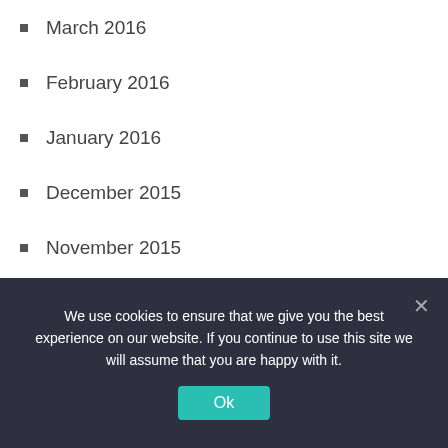March 2016
February 2016
January 2016
December 2015
November 2015
October 2015
September 2015
August 2015
July 2015
June 2015
May 2015
April 2015
We use cookies to ensure that we give you the best experience on our website. If you continue to use this site we will assume that you are happy with it.